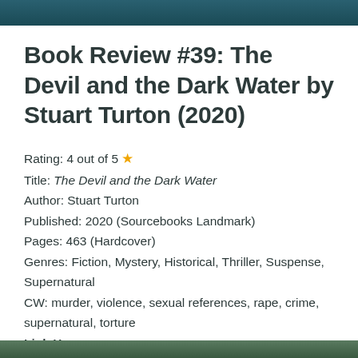[Figure (photo): Top decorative image bar — dark teal/ocean color]
Book Review #39: The Devil and the Dark Water by Stuart Turton (2020)
Rating: 4 out of 5 ★
Title: The Devil and the Dark Water
Author: Stuart Turton
Published: 2020 (Sourcebooks Landmark)
Pages: 463 (Hardcover)
Genres: Fiction, Mystery, Historical, Thriller, Suspense, Supernatural
CW: murder, violence, sexual references, rape, crime, supernatural, torture
Link Here
[Figure (photo): Bottom decorative image bar — dark green/foliage color]